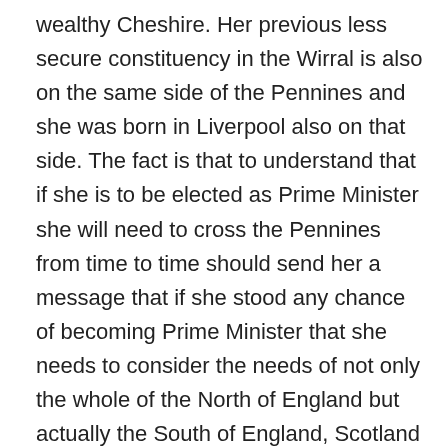wealthy Cheshire. Her previous less secure constituency in the Wirral is also on the same side of the Pennines and she was born in Liverpool also on that side. The fact is that to understand that if she is to be elected as Prime Minister she will need to cross the Pennines from time to time should send her a message that if she stood any chance of becoming Prime Minister that she needs to consider the needs of not only the whole of the North of England but actually the South of England, Scotland and Ireland (where her roots come from) and the wider world. This is particularly true for someone who claims that we can leave the EU without a deal. That demands that we have a relationship with the rest of the world outside of Europe where most of the Foreign Aid is being spent. Whilst the Foreign Aid is not the basis for trading terms, it does demonstrate our understanding of why the rest of the